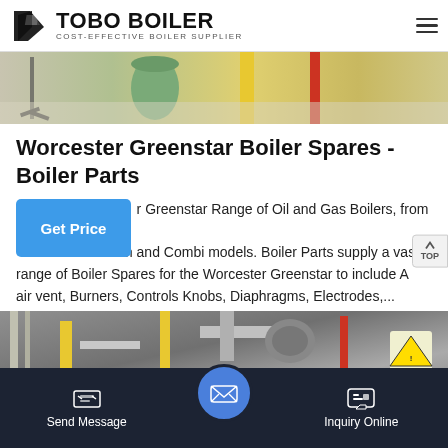[Figure (logo): TOBO BOILER logo with geometric icon and tagline COST-EFFECTIVE BOILER SUPPLIER]
[Figure (photo): Industrial boiler room photo showing equipment with yellow pipes]
Worcester Greenstar Boiler Spares - Boiler Parts
r Greenstar Range of Oil and Gas Boilers, from the m and Combi models. Boiler Parts supply a vast range of Boiler Spares for the Worcester Greenstar to include A air vent, Burners, Controls Knobs, Diaphragms, Electrodes,...
[Figure (photo): Industrial boiler installation with pipes and safety signage]
Send Message | Inquiry Online